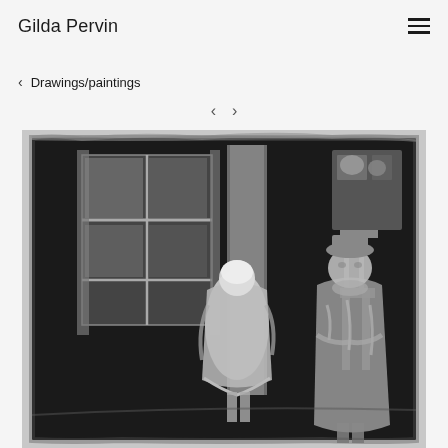Gilda Pervin
< Drawings/paintings
< >
[Figure (illustration): A grayscale painting showing two figures standing indoors. On the left is a shorter figure in a coat with white/light hair, viewed from behind at an angle. On the right is a taller figure facing forward wearing a long coat and hat. Behind them is a window with panes on the left side, a vertical pillar/curtain in the center, and what appears to be a chair or furniture piece on the upper right. The painting has a dark, moody background with loose expressionistic brushwork.]